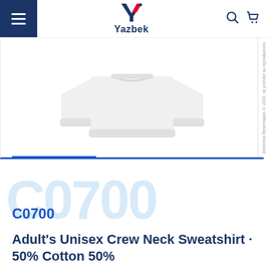Yazbek
[Figure (photo): White adult unisex crew neck sweatshirt product photo on white background]
C0700
Adult's Unisex Crew Neck Sweatshirt · 50% Cotton 50%